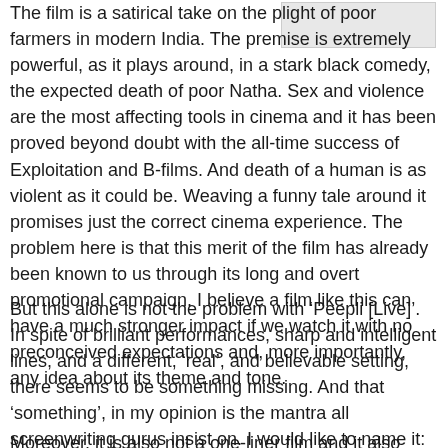[Figure (other): A light gray rectangular placeholder image in the top right corner of the page]
The film is a satirical take on the plight of poor farmers in modern India. The premise is extremely powerful, as it plays around, in a stark black comedy, the expected death of poor Natha. Sex and violence are the most affecting tools in cinema and it has been proved beyond doubt with the all-time success of Exploitation and B-films. And death of a human is as violent as it could be. Weaving a funny tale around it promises just the correct cinema experience. The problem here is that this merit of the film has already been known to us through its long and overt promotional campaign. I believe a film like this can have a much stronger impact if we watch it with no preconceived expectations and, more importantly, any idea about its theme and tone.
But this alone is not the problem with 'Peepli [Live]'. In spite of brilliant performances, sharp and intelligent lines, and a different, 'real', and believable setting, there seems to be something missing. And that 'something', in my opinion is the mantra all screenwriting gurus insist on. I would like to name it: 'Progression and Pace'.
Moreover, it is also not a one-liner film and it also gives us...